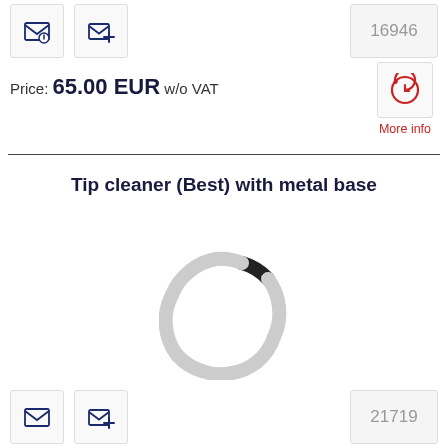[Figure (other): Two email/envelope icon buttons in a row]
16946
Price: 65.00 EUR w/o VAT
[Figure (other): More info button with clock/history icon in red, labeled 'More info']
Tip cleaner (Best) with metal base
[Figure (other): Loading spinner / circular progress indicator — grey dashes with one dark segment]
[Figure (other): Two email/envelope icon buttons in a row at bottom]
21719